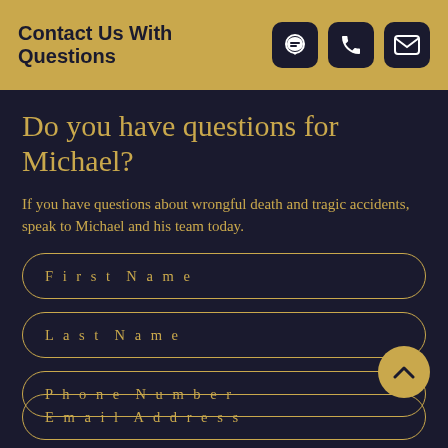Contact Us With Questions
Do you have questions for Michael?
If you have questions about wrongful death and tragic accidents, speak to Michael and his team today.
First Name
Last Name
Phone Number
Email Address